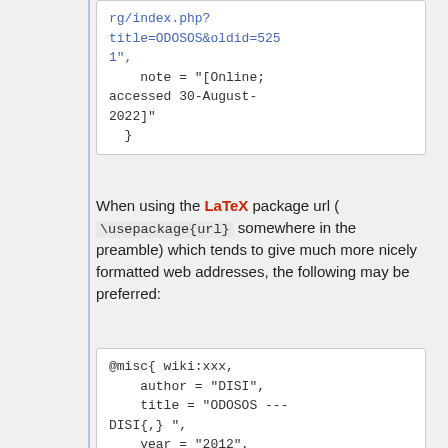rg/index.php?title=ODOSOS&oldid=5251",
    note = "[Online; accessed 30-August-2022]"
  }
When using the LaTeX package url ( \usepackage{url} somewhere in the preamble) which tends to give much more nicely formatted web addresses, the following may be preferred:
@misc{ wiki:xxx,
    author = "DISI",
    title = "ODOSOS ---DISI{,} ",
    year = "2012",
    url =
"\url{http://wiki.dock